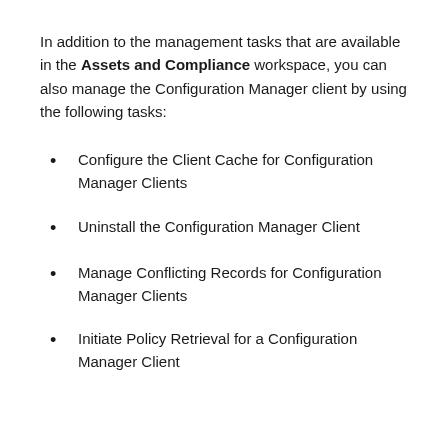In addition to the management tasks that are available in the Assets and Compliance workspace, you can also manage the Configuration Manager client by using the following tasks:
Configure the Client Cache for Configuration Manager Clients
Uninstall the Configuration Manager Client
Manage Conflicting Records for Configuration Manager Clients
Initiate Policy Retrieval for a Configuration Manager Client